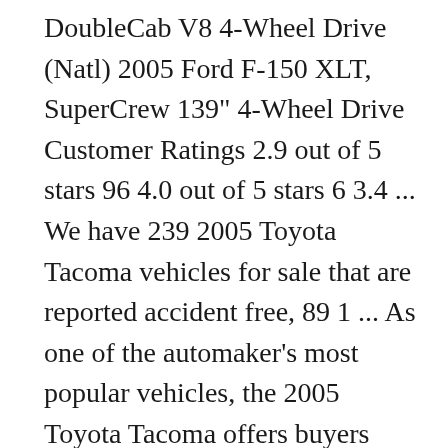DoubleCab V8 4-Wheel Drive (Natl) 2005 Ford F-150 XLT, SuperCrew 139" 4-Wheel Drive Customer Ratings 2.9 out of 5 stars 96 4.0 out of 5 stars 6 3.4 ... We have 239 2005 Toyota Tacoma vehicles for sale that are reported accident free, 89 1 ... As one of the automaker's most popular vehicles, the 2005 Toyota Tacoma offers buyers plenty of choices, with a wide range of body styles, bed configurations and engine sizes to choose from. My OBD II scanner is giving the following codes: P031, P037,P102, and P1613. Beck Arnley® Cylinder Head Bolt Set. Turned it off, waited a little while and restarted it , it ran fine. This engine is rated at 236 horsepower and 266 pound-feet of